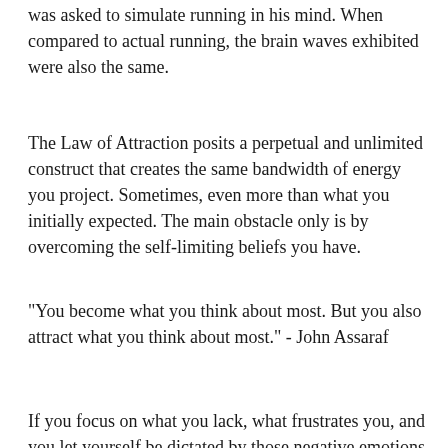was asked to simulate running in his mind. When compared to actual running, the brain waves exhibited were also the same.
The Law of Attraction posits a perpetual and unlimited construct that creates the same bandwidth of energy you project. Sometimes, even more than what you initially expected. The main obstacle only is by overcoming the self-limiting beliefs you have.
"You become what you think about most. But you also attract what you think about most." - John Assaraf
If you focus on what you lack, what frustrates you, and you let yourself be dictated by those negative emotions, you